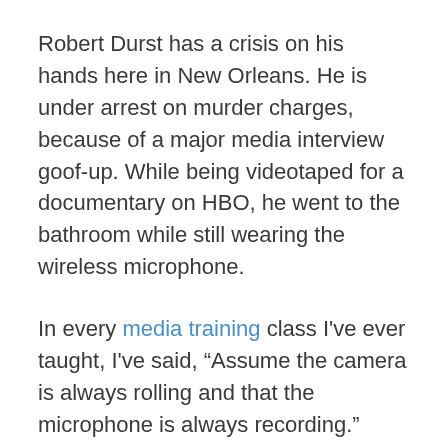Robert Durst has a crisis on his hands here in New Orleans. He is under arrest on murder charges, because of a major media interview goof-up. While being videotaped for a documentary on HBO, he went to the bathroom while still wearing the wireless microphone.
In every media training class I've ever taught, I've said, “Assume the camera is always rolling and that the microphone is always recording.”
Durst, suspected of three murders, mumbled to himself, while in the restroom and still wearing a wireless microphone,